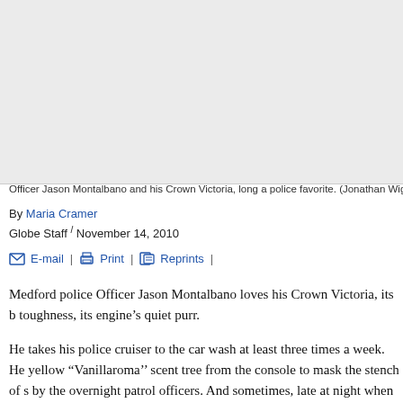[Figure (photo): Placeholder area for photo of Officer Jason Montalbano and his Crown Victoria police cruiser]
Officer Jason Montalbano and his Crown Victoria, long a police favorite. (Jonathan Wiggs/
By Maria Cramer
Globe Staff / November 14, 2010
E-mail | Print | Reprints |
Medford police Officer Jason Montalbano loves his Crown Victoria, its b toughness, its engine’s quiet purr.
He takes his police cruiser to the car wash at least three times a week. He yellow “Vanillaroma’’ scent tree from the console to mask the stench of s by the overnight patrol officers. And sometimes, late at night when the ci Montalbano, the son of a cop, will take the 250-horsepower sedan out on